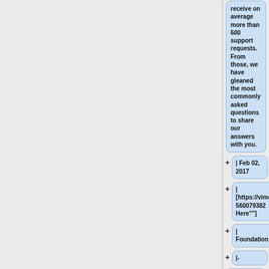receive on average more than 600 support requests. From those, we have gleaned the most commonly asked questions to share our answers with you.
| Feb 02, 2017
| [https://vimeo.com/560079382  ""Click Here""]
| Foundation
|-
| '"'Modular Goal vs Life Planning'"' – What are the differences in